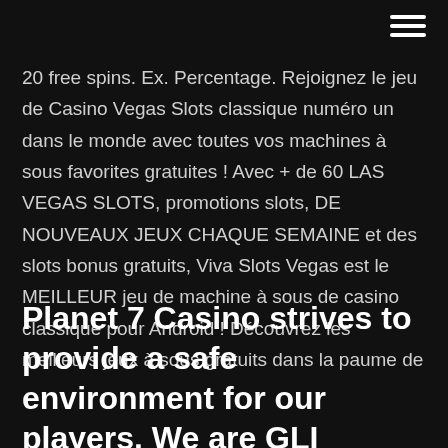≡
20 free spins. Ex. Percentage. Rejoignez le jeu de Casino Vegas Slots classique numéro un dans le monde avec toutes vos machines à sous favorites gratuites ! Avec + de 60 LAS VEGAS SLOTS, promotions slots, DE NOUVEAUX JEUX CHAQUE SEMAINE et des slots bonus gratuits, Viva Slots Vegas est le MEILLEUR jeu de machine à sous de casino classique pour Android ! Découvrez les meilleurs jeux à sous gratuits dans la paume de
Planet 7 Casino strives to provide a safe environment for our players. We are GLI Certified to give players the best quality playing experience, and all